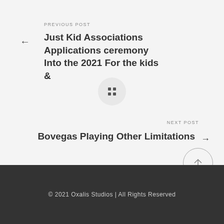PREVIOUS POST
Just Kid Associations Applications ceremony Into the 2021 For the kids &
[Figure (other): Grid/dots icon button in a circular button element]
NEXT POST
Bovegas Playing Other Limitations
[Figure (other): Scroll-to-top arrow button in a circle]
© 2021 Oxalis Studios | All Rights Reserved